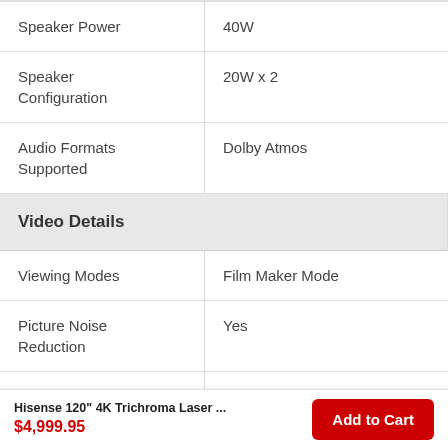| Attribute | Value |
| --- | --- |
| Speaker Power | 40W |
| Speaker Configuration | 20W x 2 |
| Audio Formats Supported | Dolby Atmos |
| Video Details |  |
| Viewing Modes | Film Maker Mode |
| Picture Noise Reduction | Yes |
| Video Formats | Imax Enhanced, HDR 10/HLG, |
Hisense 120" 4K Trichroma Laser ...
$4,999.95
Add to Cart